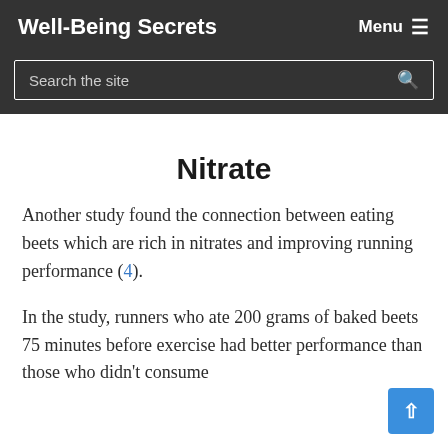Well-Being Secrets
Nitrate
Another study found the connection between eating beets which are rich in nitrates and improving running performance (4).
In the study, runners who ate 200 grams of baked beets 75 minutes before exercise had better performance than those who didn't consume